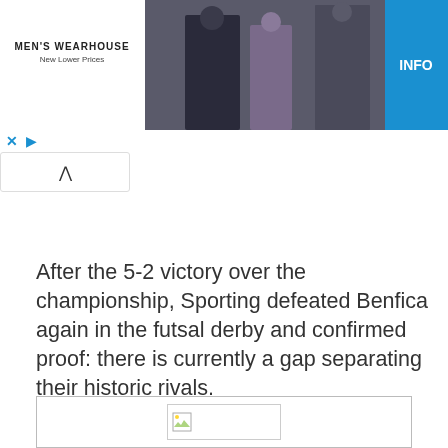[Figure (photo): Men's Wearhouse advertisement banner with couple in formal wear and man in suit on right, with INFO button]
After the 5-2 victory over the championship, Sporting defeated Benfica again in the futsal derby and confirmed proof: there is currently a gap separating their historic rivals.
[Figure (photo): Broken/loading image placeholder in a bordered box]